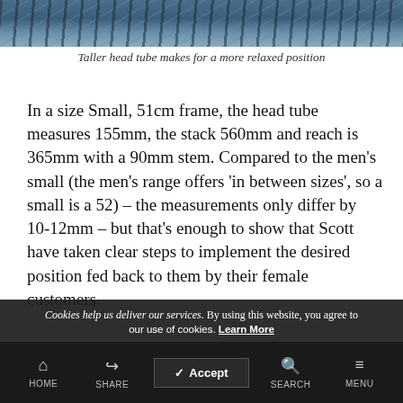[Figure (photo): Partial view of a blue bicycle frame, close-up showing head tube and frame components]
Taller head tube makes for a more relaxed position
In a size Small, 51cm frame, the head tube measures 155mm, the stack 560mm and reach is 365mm with a 90mm stem. Compared to the men's small (the men's range offers 'in between sizes', so a small is a 52) – the measurements only differ by 10-12mm – but that's enough to show that Scott have taken clear steps to implement the desired position fed back to them by their female customers.
Cookies help us deliver our services. By using this website, you agree to our use of cookies. Learn More
HOME   SHARE   ACCEPT   SEARCH   MENU